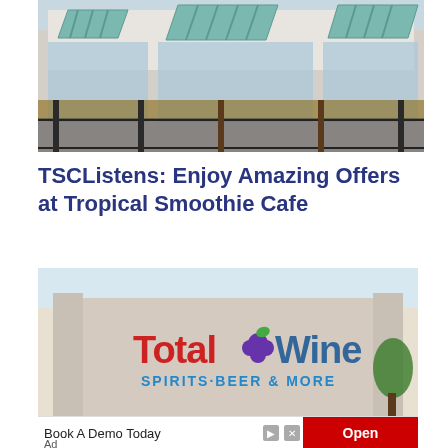[Figure (photo): Exterior of a Tropical Smoothie Cafe restaurant with teal/green striped awnings, large windows, and outdoor railing area]
TSCListens: Enjoy Amazing Offers at Tropical Smoothie Cafe
[Figure (photo): Total Wine SPIRITS BEER & MORE store exterior sign with red lettering and grape logo]
Book A Demo Today
Open
Ad